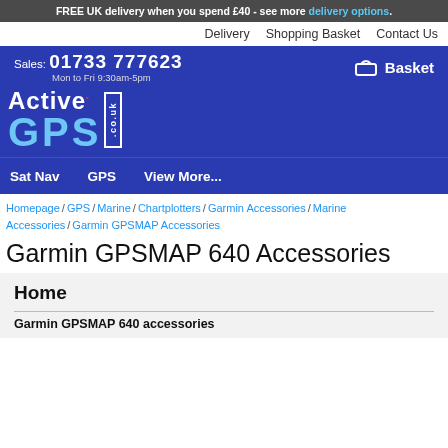FREE UK delivery when you spend £40 - see more delivery options.
Delivery   Shopping Basket   Contact Us
Sales: 01733 777623  Mon to Fri 9:30am-5pm  Basket
[Figure (logo): Active GPS .co.uk logo in white and light blue on dark blue background]
Sat Nav   GPS   View More...
Homepage / GPS / Marine / Chartplotters / Garmin Accessories / Marine Accessories / Garmin GPSMAP Accessories
Garmin GPSMAP 640 Accessories
Home
Garmin GPSMAP 640 accessories